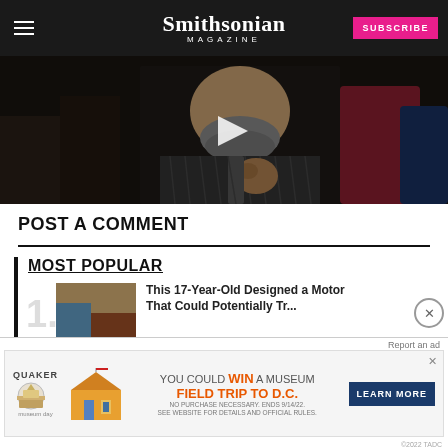Smithsonian MAGAZINE
[Figure (photo): Video thumbnail showing a bearded man in a striped jacket with a play button overlay, dark background]
POST A COMMENT
MOST POPULAR
This 17-Year-Old Designed a Motor That Could Potentially Tr...
Why Were Medieval Monks So...
[Figure (infographic): Quaker Museum Day advertisement banner: YOU COULD WIN A MUSEUM FIELD TRIP TO D.C. with LEARN MORE button]